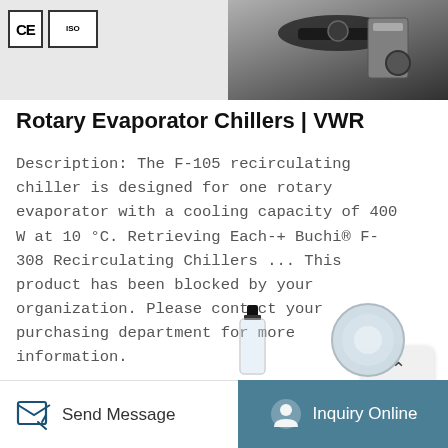[Figure (photo): Top area showing CE and ISO certification badges on left, and a rotary evaporator chiller product image on the right]
Rotary Evaporator Chillers | VWR
Description: The F-105 recirculating chiller is designed for one rotary evaporator with a cooling capacity of 400 W at 10 °C. Retrieving Each-+ Buchi® F-308 Recirculating Chillers ... This product has been blocked by your organization. Please contact your purchasing department for more information.
[Figure (screenshot): TOP button with upward arrow chevron in a rounded rectangle]
Learn More
[Figure (photo): Small laboratory bottle/flask product thumbnail at bottom left area]
[Figure (photo): Circular laboratory equipment component thumbnail at bottom right area]
Send Message
Inquiry Online